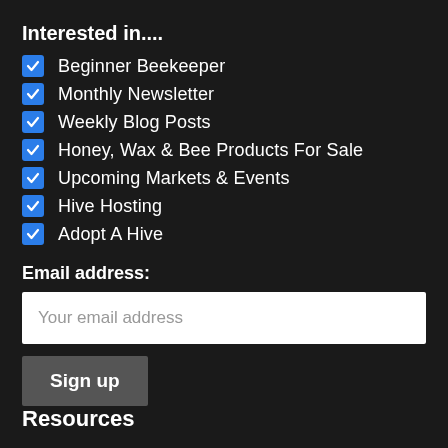Interested in....
Beginner Beekeeper
Monthly Newsletter
Weekly Blog Posts
Honey, Wax & Bee Products For Sale
Upcoming Markets & Events
Hive Hosting
Adopt A Hive
Email address:
Your email address
Sign up
Resources